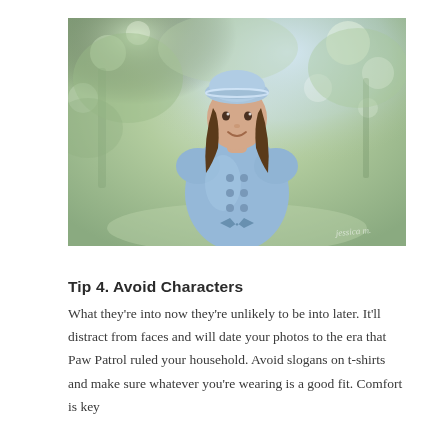[Figure (photo): A young girl wearing a light blue coat with buttons and matching beret, smiling, photographed outdoors with a soft bokeh background of green trees and light. A watermark signature is visible in the lower right corner.]
Tip 4. Avoid Characters
What they're into now they're unlikely to be into later. It'll distract from faces and will date your photos to the era that Paw Patrol ruled your household. Avoid slogans on t-shirts and make sure whatever you're wearing is a good fit. Comfort is key...